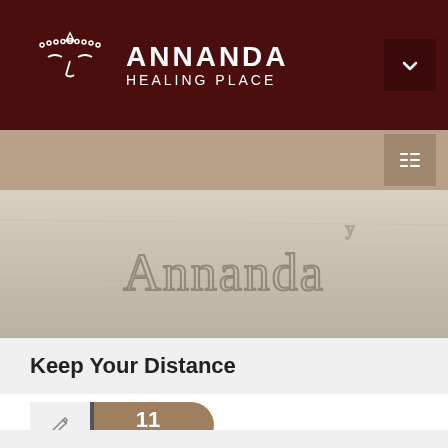[Figure (logo): Annanda Healing Place logo with Buddha face outline and brand name in white text on dark brown background]
[Figure (screenshot): Navigation bar in tan/beige color with hamburger menu icon on right]
[Figure (photo): Photo of the word 'Annanda' written in sand]
Keep Your Distance
11 JUN